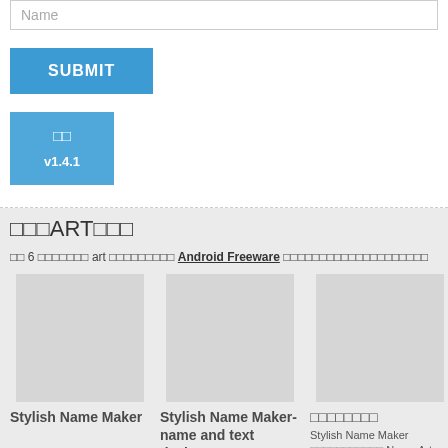Name
SUBMIT
□□ v1.4.1
□□□ART□□□
□□ 6 □□□□□□□ art □□□□□□□□□ Android Freeware □□□□□□□□□□□□□□□□□□□□
Stylish Name Maker
Stylish Name Maker-name and text design
□□□□□□□□
Stylish Name Maker □□□□□□□□□□□ Name Art □□□□